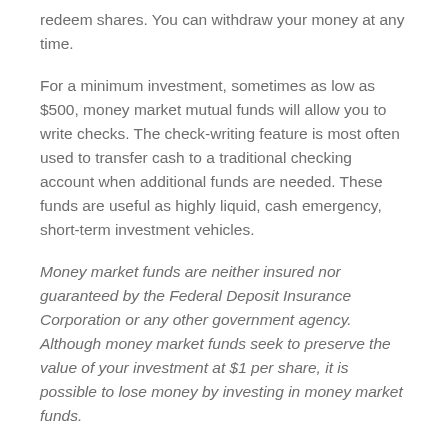redeem shares. You can withdraw your money at any time.
For a minimum investment, sometimes as low as $500, money market mutual funds will allow you to write checks. The check-writing feature is most often used to transfer cash to a traditional checking account when additional funds are needed. These funds are useful as highly liquid, cash emergency, short-term investment vehicles.
Money market funds are neither insured nor guaranteed by the Federal Deposit Insurance Corporation or any other government agency. Although money market funds seek to preserve the value of your investment at $1 per share, it is possible to lose money by investing in money market funds.
Mutual funds are sold by prospectus. Please consider the investment objectives, risks, charges, and